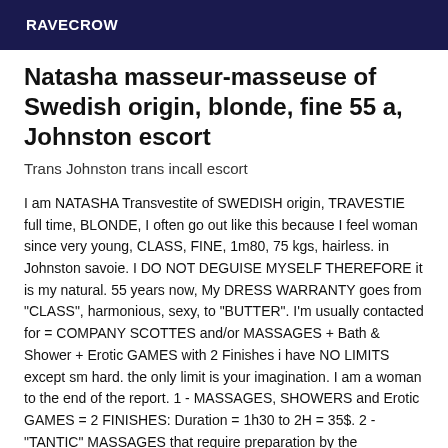RAVECROW
Natasha masseur-masseuse of Swedish origin, blonde, fine 55 a, Johnston escort
Trans Johnston trans incall escort
I am NATASHA Transvestite of SWEDISH origin, TRAVESTIE full time, BLONDE, I often go out like this because I feel woman since very young, CLASS, FINE, 1m80, 75 kgs, hairless. in Johnston savoie. I DO NOT DEGUISE MYSELF THEREFORE it is my natural. 55 years now, My DRESS WARRANTY goes from "CLASS", harmonious, sexy, to "BUTTER". I'm usually contacted for = COMPANY SCOTTES and/or MASSAGES + Bath & Shower + Erotic GAMES with 2 Finishes i have NO LIMITS except sm hard. the only limit is your imagination. I am a woman to the end of the report. 1 - MASSAGES, SHOWERS and Erotic GAMES = 2 FINISHES: Duration = 1h30 to 2H = 35$. 2 - "TANTIC" MASSAGES that require preparation by the